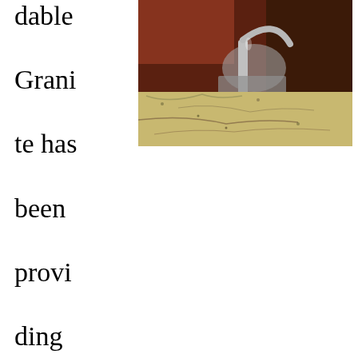dable Granite has been providing
[Figure (photo): Kitchen granite countertop with stainless steel faucet and sink, dark wood cabinets in background]
Greenfield  with granite countertops since opening our doors in 2009. We have over 15 years of experience providing beautiful granite counter tops for homes in Greenfield. If you are thinking about updating your Greenfield kitchen, bathroom, our door